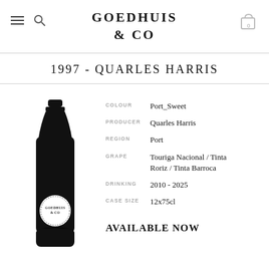GOEDHUIS & CO
1997 - QUARLES HARRIS
[Figure (illustration): Black silhouette illustration of a wine bottle with a circular Goedhuis & CO label on it]
| Field | Value |
| --- | --- |
| COLOUR | Port_Sweet |
| PRODUCER | Quarles Harris |
| REGION | Port |
| GRAPE | Touriga Nacional / Tinta Roriz / Tinta Barroca |
| DRINKING | 2010 - 2025 |
| CASE SIZE | 12x75cl |
AVAILABLE NOW